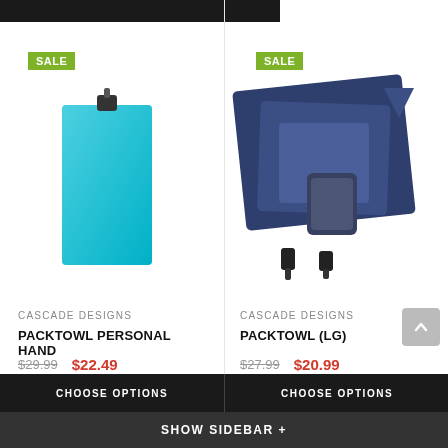[Figure (photo): Top dark navigation bar, partially visible]
[Figure (photo): Teal/cyan PackTowl Personal Hand towel with clip]
[Figure (photo): Navy blue PackTowl (LG) set with multiple sizes and carrying case]
CASCADE DESIGNS
PACKTOWL PERSONAL HAND
$29.99  $22.49
CASCADE DESIGNS
PACKTOWL (LG)
$27.99  $20.99
Compare
Compare
CHOOSE OPTIONS
CHOOSE OPTIONS
SHOW SIDEBAR +